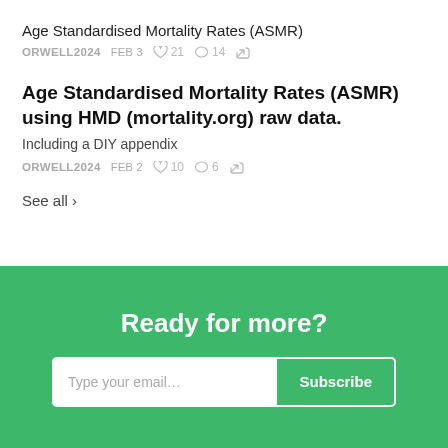Age Standardised Mortality Rates (ASMR)
ORWELL2024  FEB 3  ♡ 21  ○ 14  ↗
Age Standardised Mortality Rates (ASMR) using HMD (mortality.org) raw data.
Including a DIY appendix
ORWELL2024  FEB 2  ♡ 10  ○ 6  ↗
See all ›
Ready for more?
Type your email...  Subscribe